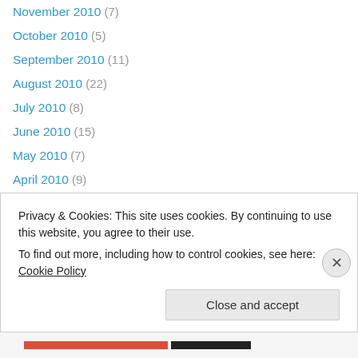November 2010 (7)
October 2010 (5)
September 2010 (11)
August 2010 (22)
July 2010 (8)
June 2010 (15)
May 2010 (7)
April 2010 (9)
March 2010 (6)
February 2010 (6)
January 2010 (11)
December 2009 (8)
November 2009 (6)
October 2009 (7)
Privacy & Cookies: This site uses cookies. By continuing to use this website, you agree to their use. To find out more, including how to control cookies, see here: Cookie Policy